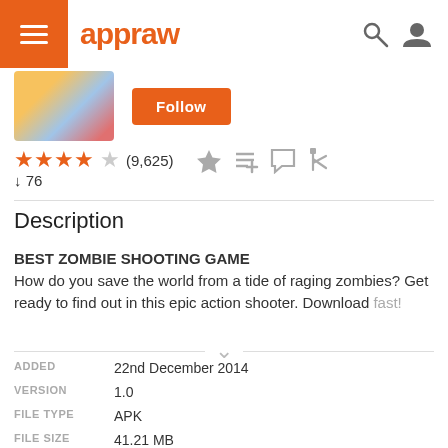appraw
[Figure (screenshot): App screenshot thumbnail and Follow button]
★★★★☆ (9,625) ↓ 76
Description
BEST ZOMBIE SHOOTING GAME
How do you save the world from a tide of raging zombies? Get ready to find out in this epic action shooter. Download fast!
| Field | Value |
| --- | --- |
| ADDED | 22nd December 2014 |
| VERSION | 1.0 |
| FILE TYPE | APK |
| FILE SIZE | 41.21 MB |
| REQUIRES | Android 2.3.3 or above |
| CATEGORY | Action |